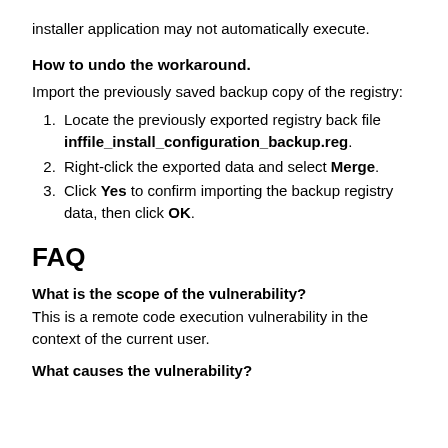installer application may not automatically execute.
How to undo the workaround.
Import the previously saved backup copy of the registry:
Locate the previously exported registry back file inffile_install_configuration_backup.reg.
Right-click the exported data and select Merge.
Click Yes to confirm importing the backup registry data, then click OK.
FAQ
What is the scope of the vulnerability?
This is a remote code execution vulnerability in the context of the current user.
What causes the vulnerability?